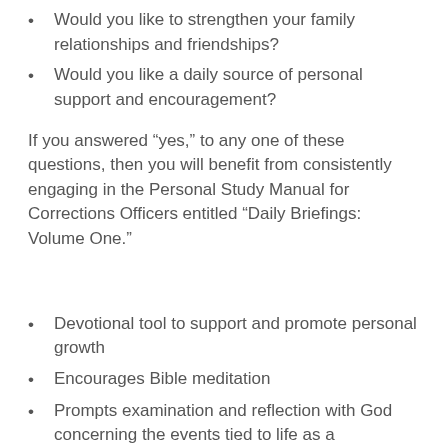Would you like to strengthen your family relationships and friendships?
Would you like a daily source of personal support and encouragement?
If you answered “yes,” to any one of these questions, then you will benefit from consistently engaging in the Personal Study Manual for Corrections Officers entitled “Daily Briefings: Volume One.”
Devotional tool to support and promote personal growth
Encourages Bible meditation
Prompts examination and reflection with God concerning the events tied to life as a corrections officer